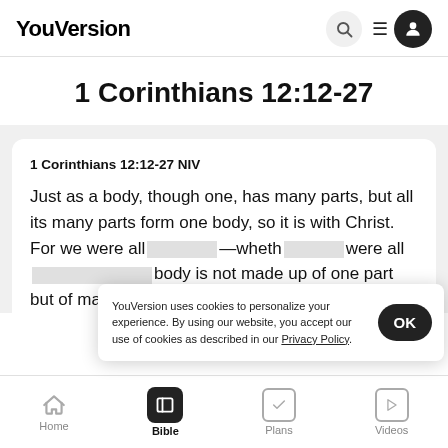YouVersion
1 Corinthians 12:12-27
1 Corinthians 12:12-27 NIV
Just as a body, though one, has many parts, but all its many parts form one body, so it is with Christ. For we were all —wheth were all body is not made up of one part but of many. Now if
YouVersion uses cookies to personalize your experience. By using our website, you accept our use of cookies as described in our Privacy Policy.
Home  Bible  Plans  Videos